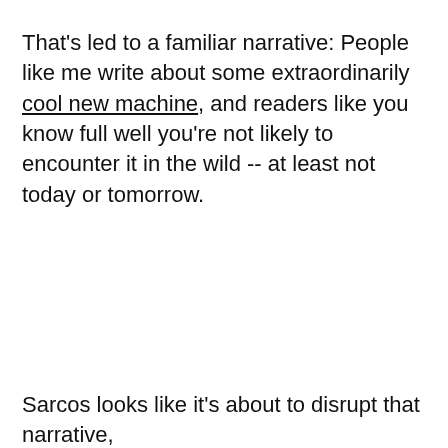That's led to a familiar narrative: People like me write about some extraordinarily cool new machine, and readers like you know full well you're not likely to encounter it in the wild -- at least not today or tomorrow.
Sarcos looks like it's about to disrupt that narrative,